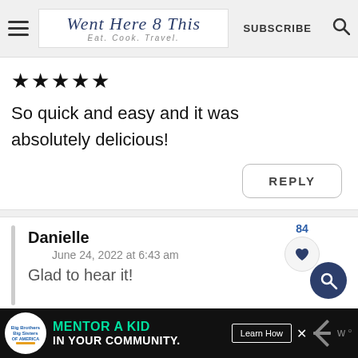Went Here 8 This — Eat. Cook. Travel. | SUBSCRIBE
★★★★★
So quick and easy and it was absolutely delicious!
REPLY
Danielle
June 24, 2022 at 6:43 am
Glad to hear it!
[Figure (screenshot): Big Brothers Big Sisters ad: MENTOR A KID IN YOUR COMMUNITY. Learn How button.]